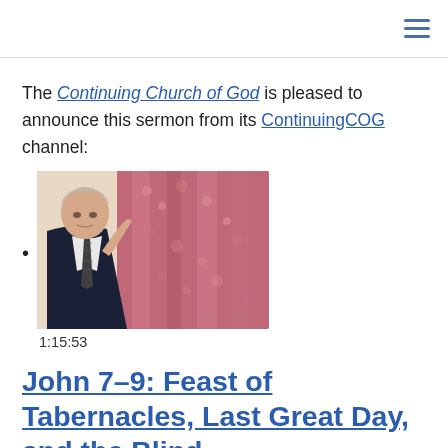≡
The Continuing Church of God is pleased to announce this sermon from its ContinuingCOG channel:
• [video thumbnail] 1:15:53
John 7–9: Feast of Tabernacles, Last Great Day, and the Blind